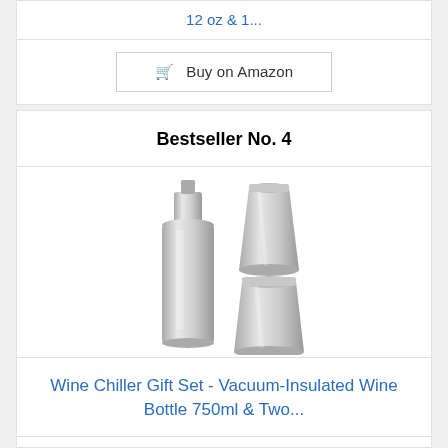12 oz & 1...
Buy on Amazon
Bestseller No. 4
[Figure (photo): Stainless steel wine chiller set: one tall vacuum-insulated wine bottle (750ml) and two stemless tumbler cups, all in polished silver finish.]
Wine Chiller Gift Set - Vacuum-Insulated Wine Bottle 750ml & Two...
Buy on Amazon